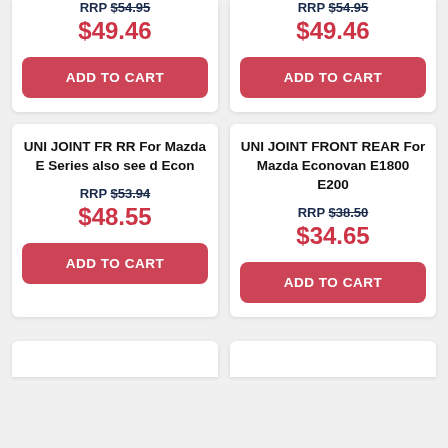RRP $54.95
$49.46
ADD TO CART
RRP $54.95
$49.46
ADD TO CART
UNI JOINT FR RR For Mazda E Series also see d Econ
RRP $53.94
$48.55
ADD TO CART
UNI JOINT FRONT REAR For Mazda Econovan E1800 E200
RRP $38.50
$34.65
ADD TO CART